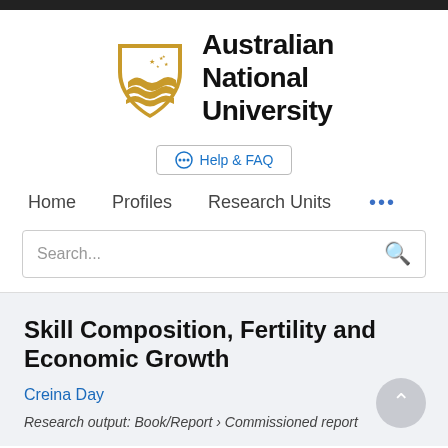[Figure (logo): Australian National University crest/shield logo in gold and a black text reading 'Australian National University']
Help & FAQ
Home   Profiles   Research Units   •••
Search...
Skill Composition, Fertility and Economic Growth
Creina Day
Research output: Book/Report › Commissioned report